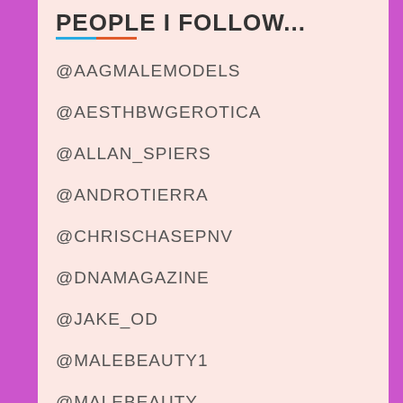PEOPLE I FOLLOW...
@AAGMALEMODELS
@AESTHBWGEROTICA
@ALLAN_SPIERS
@ANDROTIERRA
@CHRISCHASEPNV
@DNAMAGAZINE
@JAKE_OD
@MALEBEAUTY1
@MALEBEAUTY...